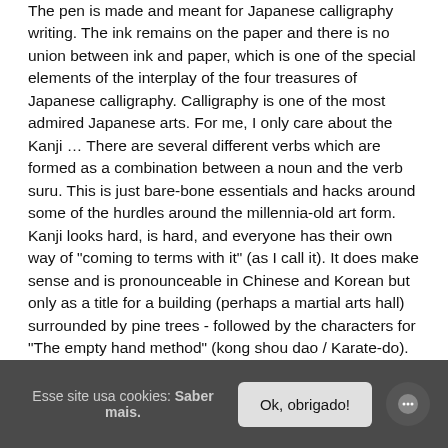The pen is made and meant for Japanese calligraphy writing. The ink remains on the paper and there is no union between ink and paper, which is one of the special elements of the interplay of the four treasures of Japanese calligraphy. Calligraphy is one of the most admired Japanese arts. For me, I only care about the Kanji … There are several different verbs which are formed as a combination between a noun and the verb suru. This is just bare-bone essentials and hacks around some of the hurdles around the millennia-old art form. Kanji looks hard, is hard, and everyone has their own way of "coming to terms with it" (as I call it). It does make sense and is pronounceable in Chinese and Korean but only as a title for a building (perhaps a martial arts hall) surrounded by pine trees - followed by the characters for "The empty hand method" (kong shou dao / Karate-do). During their six years in elementary school, Japanese children learn over 1,000 kanji. So, as Japanese learners, how many kanji do we need to learn for fluency? During the workshop, Maria shared her knowledge and technique of letter formation and how to do calligraphy on a wood surface . It's also useful for beginner to know how to pronounce a Japanese sentence. In recent years, Windows has come out with a Japanese IME – Japanese typing software that utilizes Hiragana, Katakana, and Kanji using an
Esse site usa cookies: Saber mais.
Ok, obrigado!